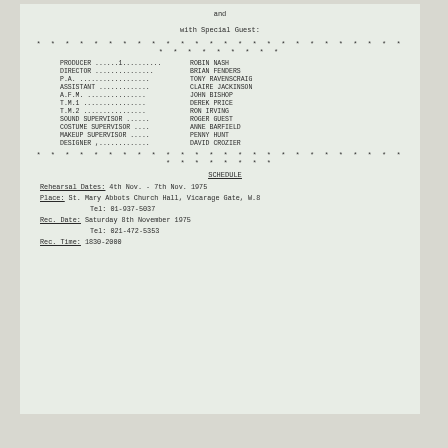and
with Special Guest:
* * * * * * * * * * * * * * * * * * * * * * * * * * * * * * * * *
PRODUCER ......1.......... ROBIN NASH
DIRECTOR ............... BRIAN FENDERS
P.A. .................. TONY RAVENSCRAIG
ASSISTANT ............. CLAIRE JACKINSON
A.F.M. ................ JOHN BISHOP
T.M.1 ................. DEREK PRICE
T.M.2 ................. RON IRVING
SOUND SUPERVISOR ...... ROGER GUEST
COSTUME SUPERVISOR .... ANNE BARFIELD
MAKEUP SUPERVISOR ..... PENNY HUNT
DESIGNER ,............. DAVID CROZIER
* * * * * * * * * * * * * * * * * * * * * * * * * * * * * * * * *
SCHEDULE
Rehearsal Dates: 4th Nov. - 7th Nov. 1975
Place: St. Mary Abbots Church Hall, Vicarage Gate, W.8
Tel: 01-937-5037
Rec. Date: Saturday 8th November 1975
Tel: 021-472-5353
Rec. Time: 1830-2000